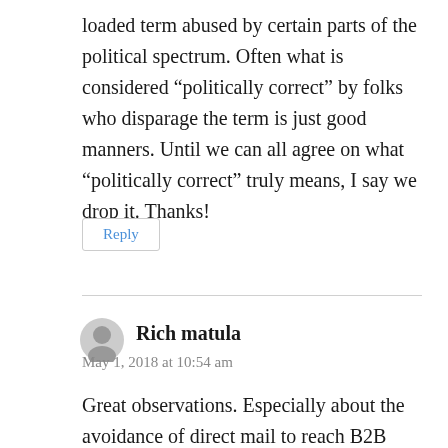loaded term abused by certain parts of the political spectrum. Often what is considered “politically correct” by folks who disparage the term is just good manners. Until we can all agree on what “politically correct” truly means, I say we drop it. Thanks!
Reply
Rich matula
May 1, 2018 at 10:54 am
Great observations. Especially about the avoidance of direct mail to reach B2B prospects. In my mind the more people that stay away